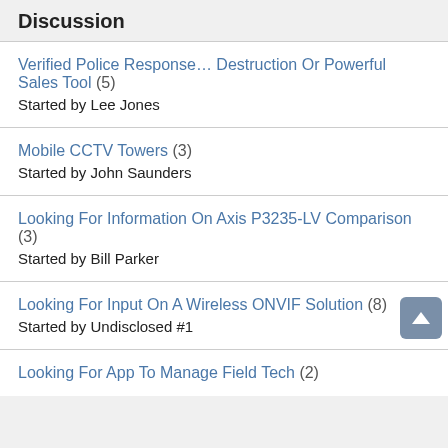Discussion
Verified Police Response… Destruction Or Powerful Sales Tool (5)
Started by Lee Jones
Mobile CCTV Towers (3)
Started by John Saunders
Looking For Information On Axis P3235-LV Comparison (3)
Started by Bill Parker
Looking For Input On A Wireless ONVIF Solution (8)
Started by Undisclosed #1
Looking For App To Manage Field Tech (2)